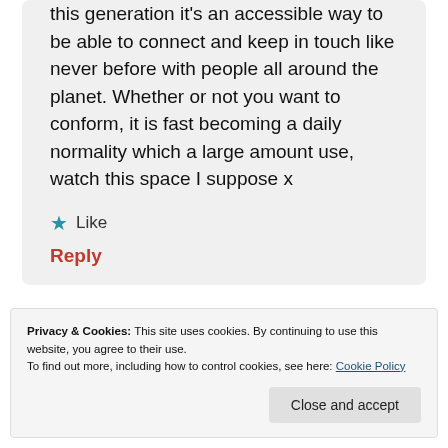this generation it's an accessible way to be able to connect and keep in touch like never before with people all around the planet. Whether or not you want to conform, it is fast becoming a daily normality which a large amount use, watch this space I suppose x
★ Like
Reply
Privacy & Cookies: This site uses cookies. By continuing to use this website, you agree to their use.
To find out more, including how to control cookies, see here: Cookie Policy
Close and accept